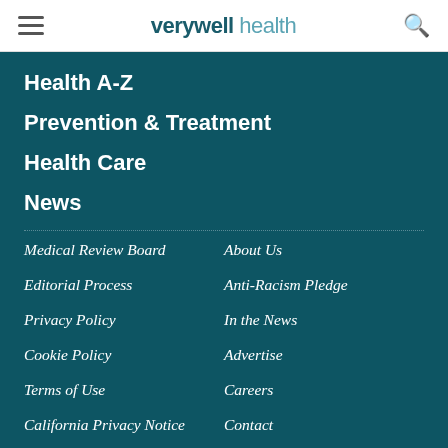verywell health
Health A-Z
Prevention & Treatment
Health Care
News
Medical Review Board
About Us
Editorial Process
Anti-Racism Pledge
Privacy Policy
In the News
Cookie Policy
Advertise
Terms of Use
Careers
California Privacy Notice
Contact